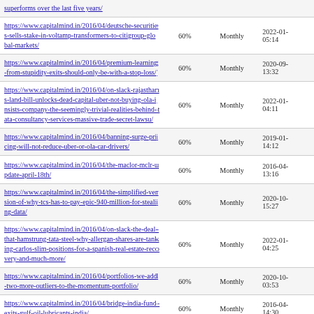| URL | Percentage | Frequency | Date |
| --- | --- | --- | --- |
| https://www.capitalmind.in/2016/04/deutsche-securities-sells-stake-in-voltamp-transformers-to-citigroup-global-markets/ | 60% | Monthly | 2022-01- 05:14 |
| https://www.capitalmind.in/2016/04/premium-learning-from-stupidity-exits-should-only-be-with-a-stop-loss/ | 60% | Monthly | 2020-09- 13:32 |
| https://www.capitalmind.in/2016/04/on-slack-rajasthans-land-bill-unlocks-dead-capital-uber-not-buying-ola-insists-company-the-seemingly-trivial-realities-behind-tata-consultancy-services-massive-trade-secret-lawsu/ | 60% | Monthly | 2022-01- 04:11 |
| https://www.capitalmind.in/2016/04/banning-surge-pricing-will-not-reduce-uber-or-ola-car-drivers/ | 60% | Monthly | 2019-01- 14:12 |
| https://www.capitalmind.in/2016/04/the-maclor-mclr-update-april-18th/ | 60% | Monthly | 2016-04- 13:16 |
| https://www.capitalmind.in/2016/04/the-simplified-version-of-why-tcs-has-to-pay-epic-940-million-for-stealing-data/ | 60% | Monthly | 2020-10- 15:27 |
| https://www.capitalmind.in/2016/04/on-slack-the-deal-that-hamstrung-tata-steel-why-allergan-shares-are-tanking-carlos-slim-positions-for-a-spanish-real-estate-recovery-and-much-more/ | 60% | Monthly | 2022-01- 04:25 |
| https://www.capitalmind.in/2016/04/portfolios-we-add-two-more-outliers-to-the-momentum-portfolio/ | 60% | Monthly | 2020-10- 03:53 |
| https://www.capitalmind.in/2016/04/bridge-india-fund-exits-gulf-oil-lubricants-india/ | 60% | Monthly | 2016-04- 14:30 |